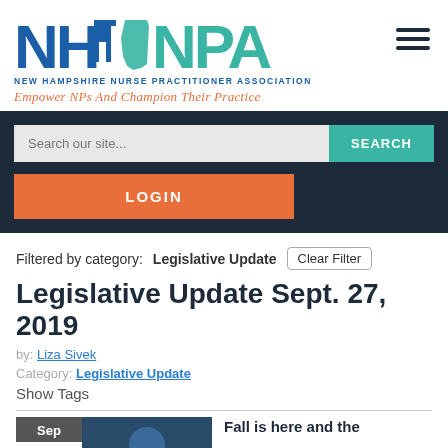[Figure (logo): NHNPA - New Hampshire Nurse Practitioner Association logo with teal and blue lettering and NH state outline]
Empower NPs And Champion Their Practice
[Figure (other): Navigation bar with search field, SEARCH button, and LOGIN button on dark navy background]
Filtered by category: Legislative Update
Legislative Update Sept. 27, 2019
by: Liza Sivek
Category: Legislative Update
Show Tags
Fall is here and the